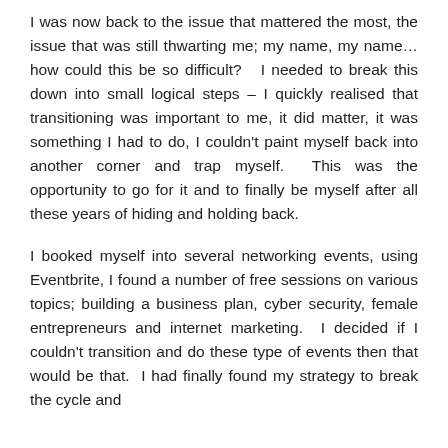I was now back to the issue that mattered the most, the issue that was still thwarting me; my name, my name… how could this be so difficult?   I needed to break this down into small logical steps – I quickly realised that transitioning was important to me, it did matter, it was something I had to do, I couldn't paint myself back into another corner and trap myself.  This was the opportunity to go for it and to finally be myself after all these years of hiding and holding back.
I booked myself into several networking events, using Eventbrite, I found a number of free sessions on various topics; building a business plan, cyber security, female entrepreneurs and internet marketing.  I decided if I couldn't transition and do these type of events then that would be that.  I had finally found my strategy to break the cycle and